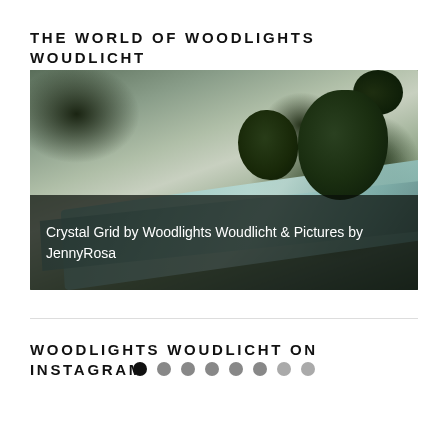THE WORLD OF WOODLIGHTS WOUDLICHT
[Figure (photo): Slideshow image showing crystals and dark green gemstones on a wooden surface. Caption reads: Crystal Grid by Woodlights Woudlicht & Pictures by JennyRosa. Below the image are 8 navigation dots, the first one filled black.]
Crystal Grid by Woodlights Woudlicht & Pictures by JennyRosa
WOODLIGHTS WOUDLICHT ON INSTAGRAM